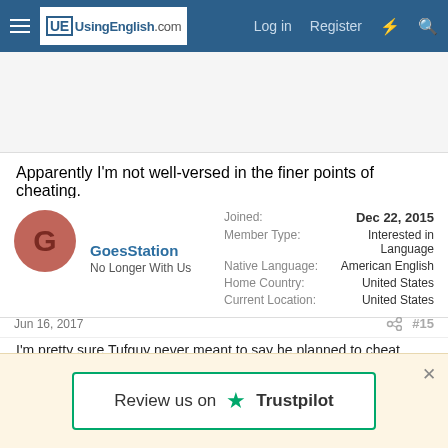UsingEnglish.com — Log in  Register
[Figure (other): Advertisement/empty space banner area]
Apparently I'm not well-versed in the finer points of cheating.
GoesStation
No Longer With Us
Joined: Dec 22, 2015
Member Type: Interested in Language
Native Language: American English
Home Country: United States
Current Location: United States
Jun 16, 2017    #15
I'm pretty sure Tufguy never meant to say he planned to cheat
Review us on ★ Trustpilot